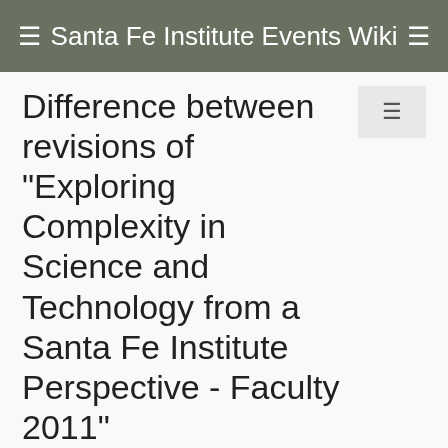Santa Fe Institute Events Wiki
Difference between revisions of "Exploring Complexity in Science and Technology from a Santa Fe Institute Perspective - Faculty 2011"
From Santa Fe Institute Events Wiki
| Revision as of 20:37, 7 March 2011 (view source) | Latest revision as of 22:42, 26 May 2011 (view source) |
| --- | --- |
| Juniperlovato (talk | contribs) | Juniperlovato (talk | contribs) |
| ← Older edit |  |